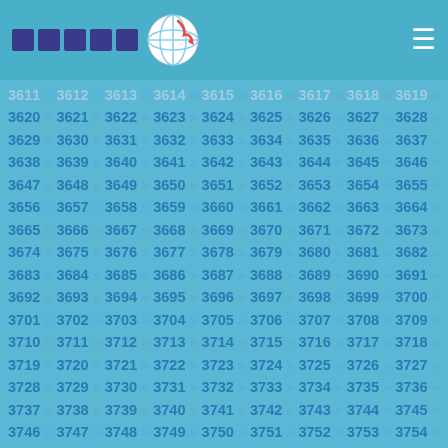Logo and navigation header with globe icon and hamburger menu
3611 » 3612 » 3613 » 3614 » 3615 » 3616 » 3617 » 3618 » 3619 » 3620 » 3621 » 3622 » 3623 » 3624 » 3625 » 3626 » 3627 » 3628 » 3629 » 3630 » 3631 » 3632 » 3633 » 3634 » 3635 » 3636 » 3637 » 3638 » 3639 » 3640 » 3641 » 3642 » 3643 » 3644 » 3645 » 3646 » 3647 » 3648 » 3649 » 3650 » 3651 » 3652 » 3653 » 3654 » 3655 » 3656 » 3657 » 3658 » 3659 » 3660 » 3661 » 3662 » 3663 » 3664 » 3665 » 3666 » 3667 » 3668 » 3669 » 3670 » 3671 » 3672 » 3673 » 3674 » 3675 » 3676 » 3677 » 3678 » 3679 » 3680 » 3681 » 3682 » 3683 » 3684 » 3685 » 3686 » 3687 » 3688 » 3689 » 3690 » 3691 » 3692 » 3693 » 3694 » 3695 » 3696 » 3697 » 3698 » 3699 » 3700 » 3701 » 3702 » 3703 » 3704 » 3705 » 3706 » 3707 » 3708 » 3709 » 3710 » 3711 » 3712 » 3713 » 3714 » 3715 » 3716 » 3717 » 3718 » 3719 » 3720 » 3721 » 3722 » 3723 » 3724 » 3725 » 3726 » 3727 » 3728 » 3729 » 3730 » 3731 » 3732 » 3733 » 3734 » 3735 » 3736 » 3737 » 3738 » 3739 » 3740 » 3741 » 3742 » 3743 » 3744 » 3745 » 3746 » 3747 » 3748 » 3749 » 3750 » 3751 » 3752 » 3753 » 3754 » 3755 » 3756 » 3757 » 3758 » 3759 » 3760 » 3761 » 3762 » 3763 » 3764 » 3765 » 3766 » 3767 » 3768 » 3769 » 3770 » 3771 » 3772 » 3773 » 3774 » 3775 » 3776 » 3777 » 3778 » 3779 » 3780 » 3781 » 3782 » 3783 » 3784 » 3785 » 3786 » 3787 » 3788 » 3789 » 3790 » 3791 » 3792 » 3793 » 3794 » 3795 » 3796 » 3797 » 3798 » 3799 » 3800 » 3801 » 3802 » 3803 » 3804 » 3805 » 3806 » 3807 » 3808 »